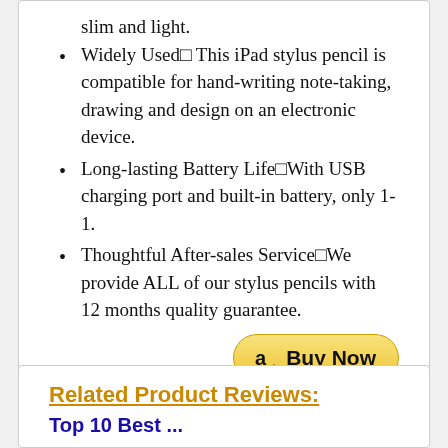slim and light.
Widely Used□ This iPad stylus pencil is compatible for hand-writing note-taking, drawing and design on an electronic device.
Long-lasting Battery Life□With USB charging port and built-in battery, only 1-1.
Thoughtful After-sales Service□We provide ALL of our stylus pencils with 12 months quality guarantee.
[Figure (other): Amazon Buy Now button]
Related Product Reviews:
Top 10 Best ...